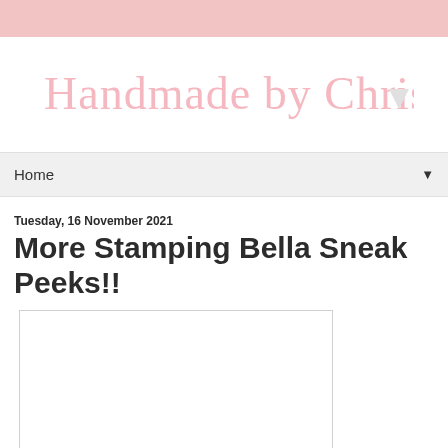[Figure (logo): Handmade by Christine script logo with dropdown arrow]
Home ▼
Tuesday, 16 November 2021
More Stamping Bella Sneak Peeks!!
[Figure (photo): Blank/white image placeholder with light border]